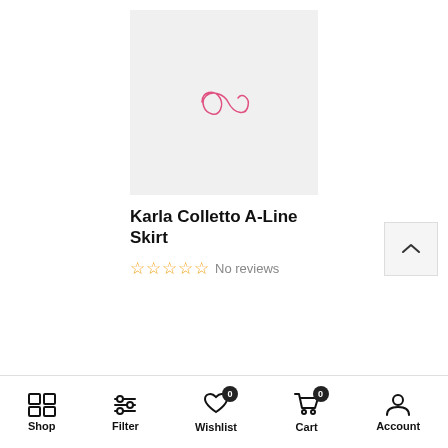[Figure (photo): Product image placeholder with a pink cursive infinity-like logo on a light gray background]
Karla Colletto A-Line Skirt
☆☆☆☆☆ No reviews
Shop  Filter  Wishlist 0  Cart 0  Account